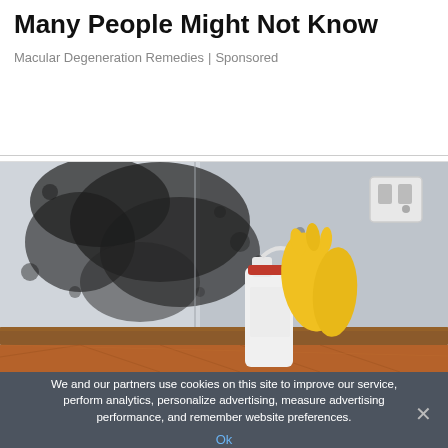Many People Might Not Know
Macular Degeneration Remedies | Sponsored
[Figure (photo): Photo of a wall heavily covered in black mold in the corner, with a white spray bottle and yellow rubber gloves on a wooden parquet floor in front of it. A European-style electrical outlet is visible on the wall to the right.]
We and our partners use cookies on this site to improve our service, perform analytics, personalize advertising, measure advertising performance, and remember website preferences.
Ok